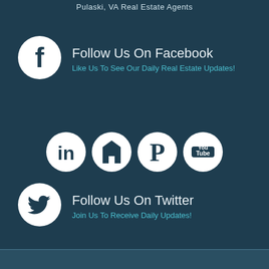Pulaski, VA Real Estate Agents
[Figure (logo): Facebook circle icon with 'Follow Us On Facebook' heading and 'Like Us To See Our Daily Real Estate Updates!' subtitle]
[Figure (logo): Row of four social media circle icons: LinkedIn, Houzz, Pinterest, YouTube]
[Figure (logo): Twitter circle icon with 'Follow Us On Twitter' heading and 'Join Us To Receive Daily Updates!' subtitle]